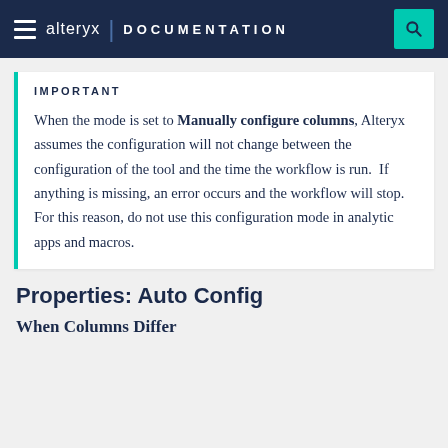alteryx | DOCUMENTATION
IMPORTANT
When the mode is set to Manually configure columns, Alteryx assumes the configuration will not change between the configuration of the tool and the time the workflow is run.  If anything is missing, an error occurs and the workflow will stop. For this reason, do not use this configuration mode in analytic apps and macros.
Properties: Auto Config
When Columns Differ